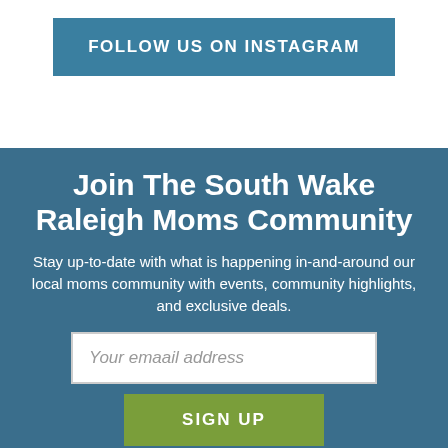FOLLOW US ON INSTAGRAM
Join The South Wake Raleigh Moms Community
Stay up-to-date with what is happening in-and-around our local moms community with events, community highlights, and exclusive deals.
Your emaail address
SIGN UP